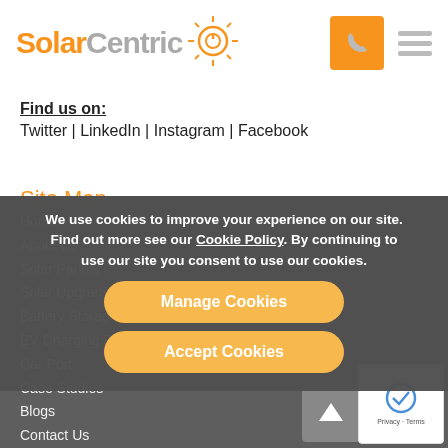[Figure (logo): SolarCentric logo with orange sun icon]
Find us on:
Twitter | LinkedIn | Instagram | Facebook
Site Map
Home
About Us
Solar Panels
Solar Upgrade
Battery Storage
EV Charging Points
Car Port
Case Studies
Blogs
Contact Us
We use cookies to improve your experience on our site. Find out more see our Cookie Policy. By continuing to use our site you consent to use our cookies.
Manage Cookies
Accept Cookies